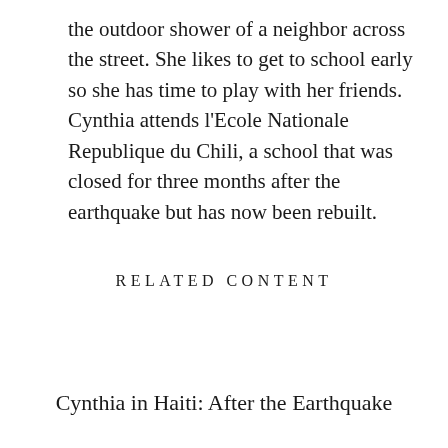the outdoor shower of a neighbor across the street. She likes to get to school early so she has time to play with her friends. Cynthia attends l'Ecole Nationale Republique du Chili, a school that was closed for three months after the earthquake but has now been rebuilt.
RELATED CONTENT
Cynthia in Haiti: After the Earthquake